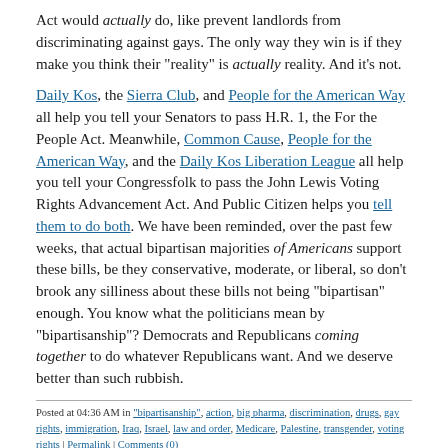Act would actually do, like prevent landlords from discriminating against gays. The only way they win is if they make you think their "reality" is actually reality. And it's not.
Daily Kos, the Sierra Club, and People for the American Way all help you tell your Senators to pass H.R. 1, the For the People Act. Meanwhile, Common Cause, People for the American Way, and the Daily Kos Liberation League all help you tell your Congressfolk to pass the John Lewis Voting Rights Advancement Act. And Public Citizen helps you tell them to do both. We have been reminded, over the past few weeks, that actual bipartisan majorities of Americans support these bills, be they conservative, moderate, or liberal, so don't brook any silliness about these bills not being "bipartisan" enough. You know what the politicians mean by "bipartisanship"? Democrats and Republicans coming together to do whatever Republicans want. And we deserve better than such rubbish.
Posted at 04:36 AM in "bipartisanship", action, big pharma, discrimination, drugs, gay rights, immigration, Iraq, Israel, law and order, Medicare, Palestine, transgender, voting rights | Permalink | Comments (0)
2021.06.11
Action: concerning gerrymandering, health care, discrimination, coverage, and antibi...